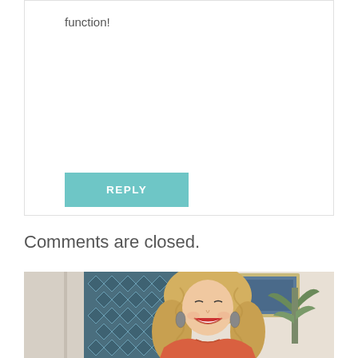function!
REPLY
Comments are closed.
[Figure (photo): A smiling blonde woman in an orange top standing in front of a blue and white patterned curtain, with a framed artwork visible in the background.]